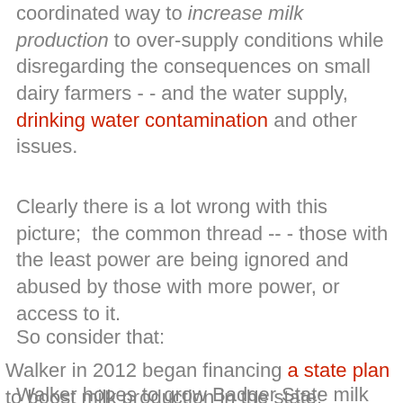coordinated way to increase milk production to over-supply conditions while disregarding the consequences on small dairy farmers - - and the water supply, drinking water contamination and other issues.
Clearly there is a lot wrong with this picture;  the common thread -- - those with the least power are being ignored and abused by those with more power, or access to it.
So consider that:
Walker in 2012 began financing a state plan to boost milk production in the state:
Walker hopes to grow Badger State milk